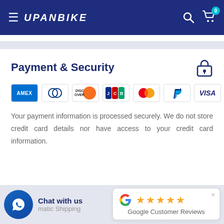UPANBIKE
Payment & Security
[Figure (logo): Payment method logos: Amex, Diners Club, Discover, JCB, Mastercard, PayPal, Visa]
Your payment information is processed securely. We do not store credit card details nor have access to your credit card information.
[Figure (infographic): WhatsApp Chat with us button and Google Customer Reviews popup with 5 stars]